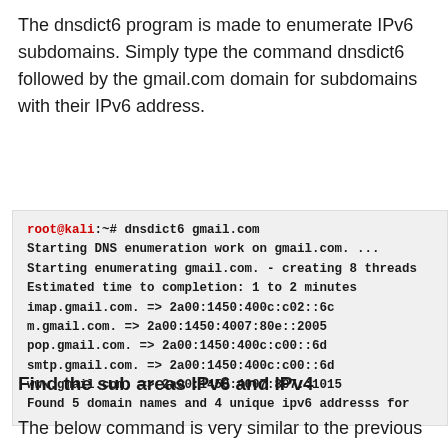The dnsdict6 program is made to enumerate IPv6 subdomains. Simply type the command dnsdict6 followed by the gmail.com domain for subdomains with their IPv6 address.
[Figure (screenshot): Terminal output showing dnsdict6 command run on gmail.com, listing IPv6 addresses for imap, m, pop, smtp, and www subdomains. Found 5 domain names and 4 unique ipv6 addresses.]
Find the sub areas IPv6 and IPv4
The below command is very similar to the previous one,